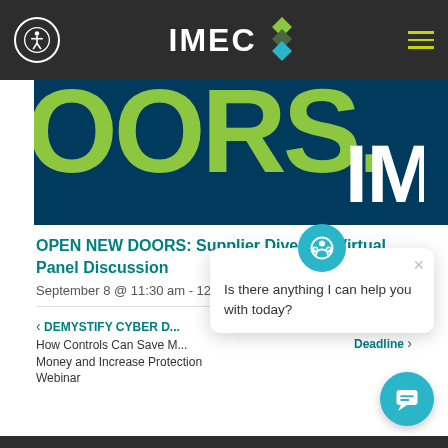IMEC
[Figure (illustration): Hero banner image with dark navy background showing 'OORS.' in large lime green text and 'IM' in white text, partially cropped]
OPEN NEW DOORS: Supplier Diversity Virtual Panel Discussion
September 8 @ 11:30 am - 12:30 pm
< DEMYSTIFY CYBER ... How Controls Can Save ... Money and Increase Protection Webinar
Application Deadline >
[Figure (screenshot): Chat popup widget: 'Is there anything I can help you with today?' with teal headset icon and close button]